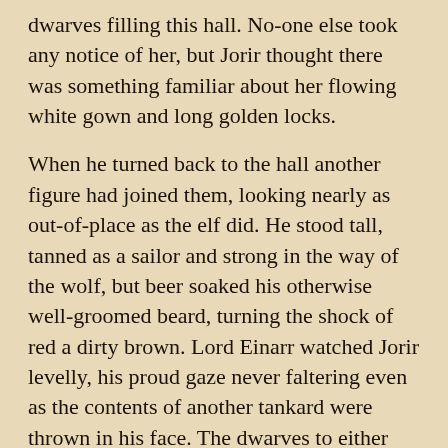dwarves filling this hall. No-one else took any notice of her, but Jorir thought there was something familiar about her flowing white gown and long golden locks.
When he turned back to the hall another figure had joined them, looking nearly as out-of-place as the elf did. He stood tall, tanned as a sailor and strong in the way of the wolf, but beer soaked his otherwise well-groomed beard, turning the shock of red a dirty brown. Lord Einarr watched Jorir levelly, his proud gaze never faltering even as the contents of another tankard were thrown in his face. The dwarves to either side of Einarr moved, and it was only when Einarr moved with them that